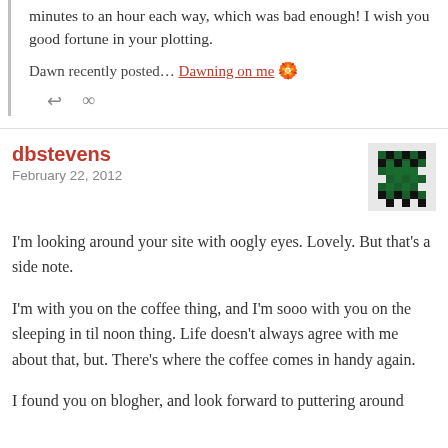minutes to an hour each way, which was bad enough! I wish you good fortune in your plotting.
Dawn recently posted… Dawning on me
dbstevens
February 22, 2012
[Figure (illustration): Pixel/mosaic style avatar icon in dark green and black checkerboard pattern]
I’m looking around your site with oogly eyes. Lovely. But that’s a side note.
I’m with you on the coffee thing, and I’m sooo with you on the sleeping in til noon thing. Life doesn’t always agree with me about that, but. There’s where the coffee comes in handy again.
I found you on blogher, and look forward to puttering around